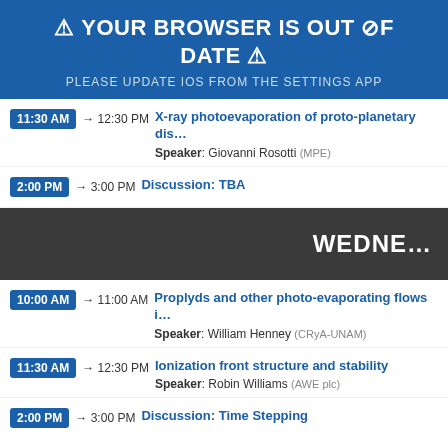⚠ YOUR BROWSER IS OUT OF DATE ⚠
PLEASE UPDATE IOS FROM THE SETTINGS APP
11:30 AM → 12:30 PM X-ray photoevaporation of proto-planetary dis… Speaker: Giovanni Rosotti (MPE)
2:00 PM → 3:00 PM Discussion: TBA
Wednesday
10:00 AM → 11:00 AM Proplyds and other photo-evaporating flows i… Speaker: William Henney (CRyA-UNAM)
11:30 AM → 12:30 PM Ionization front structure and stability Speaker: Robin Williams (AWE plc)
2:00 PM → 3:00 PM Discussion: Time Stepping